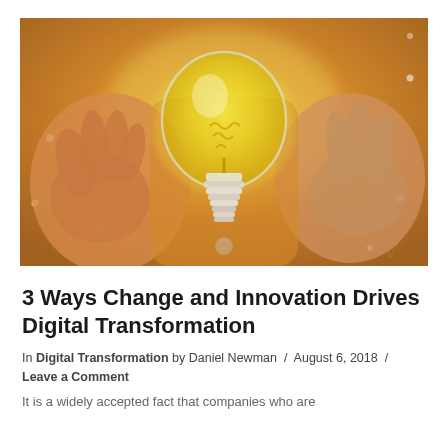[Figure (photo): A person in an orange/yellow top holding up a glowing yellow light bulb with both hands open on either side, against a blurred background with geometric network overlay graphics.]
3 Ways Change and Innovation Drives Digital Transformation
In Digital Transformation by Daniel Newman / August 6, 2018 / Leave a Comment
It is a widely accepted fact that companies who are